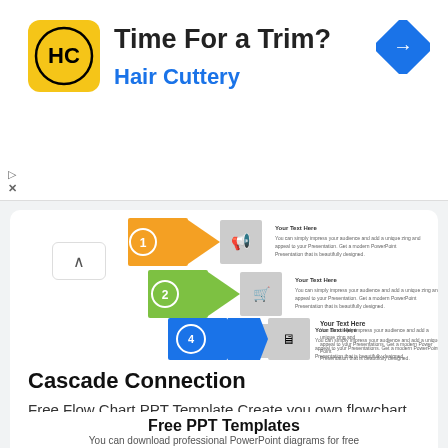[Figure (advertisement): Hair Cuttery advertisement banner with yellow logo showing HC initials, title 'Time For a Trim?', subtitle 'Hair Cuttery', blue diamond navigation arrow icon on right, play and close icons on left]
[Figure (screenshot): Screenshot of a cascade/waterfall flowchart PPT template with 4 steps: step 1 orange, step 2 green, step 3 teal, step 4 blue, each with 'Your Text Here' and placeholder body text]
Cascade Connection
Free Flow Chart PPT Template Create you own flowchart PPT slide by using our ...
Free PPT Templates
You can download professional PowerPoint diagrams for free